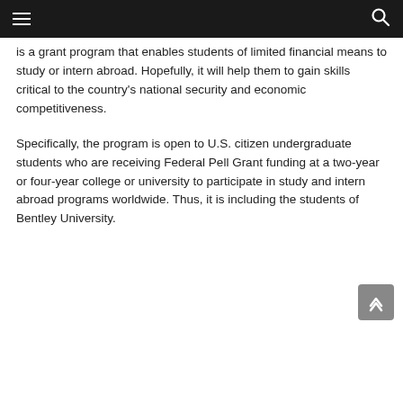is a grant program that enables students of limited financial means to study or intern abroad. Hopefully, it will help them to gain skills critical to the country’s national security and economic competitiveness.
Specifically, the program is open to U.S. citizen undergraduate students who are receiving Federal Pell Grant funding at a two-year or four-year college or university to participate in study and intern abroad programs worldwide. Thus, it is including the students of Bentley University.